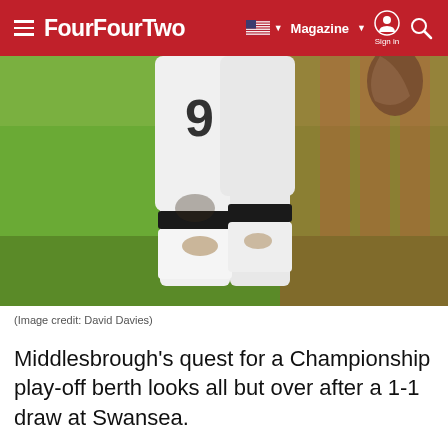FourFourTwo — Magazine | Sign in
[Figure (photo): Close-up photo of a footballer's legs wearing white kit with number 9, black socks with stripes, muddy white boots, standing on green grass with red background]
(Image credit: David Davies)
Middlesbrough's quest for a Championship play-off berth looks all but over after a 1-1 draw at Swansea.